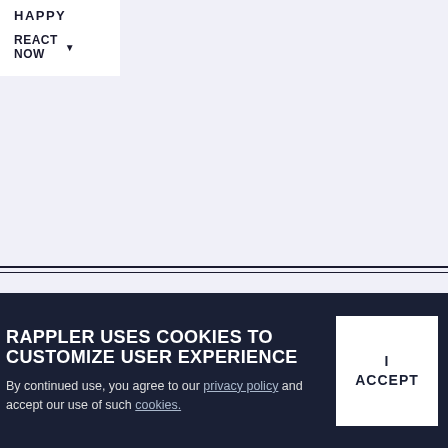HAPPY
REACT NOW
RECOMMENDED STORIES
CELEBRITY WEDDINGS
[Figure (photo): Two people in formal attire, partial view, blurred background]
RAPPLER USES COOKIES TO CUSTOMIZE USER EXPERIENCE
By continued use, you agree to our privacy policy and accept our use of such cookies.
I ACCEPT